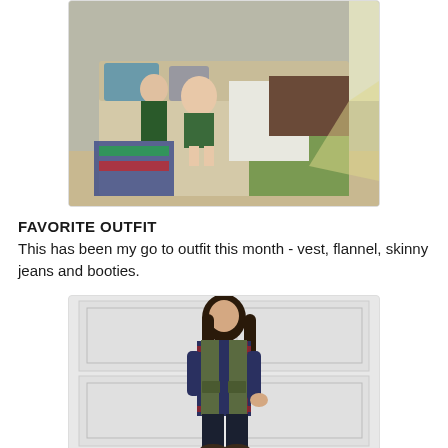[Figure (photo): Indoor photo of two children sitting on a couch with blankets and pillows, one baby and one older child in green clothing, bright light coming through a window.]
FAVORITE OUTFIT
This has been my go to outfit this month - vest, flannel, skinny jeans and booties.
[Figure (photo): Photo of a young woman standing in front of a white garage door wearing an olive green vest over a red and navy plaid flannel shirt, with dark jeans and booties, long dark hair.]